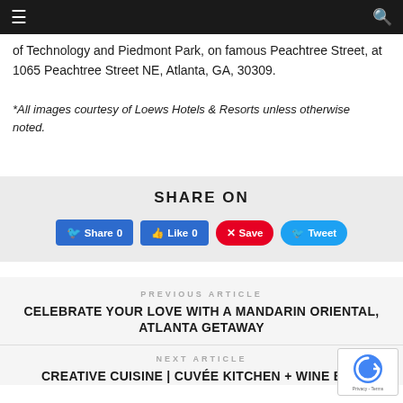Navigation bar with hamburger menu and search icon
of Technology and Piedmont Park, on famous Peachtree Street, at 1065 Peachtree Street NE, Atlanta, GA, 30309.
*All images courtesy of Loews Hotels & Resorts unless otherwise noted.
SHARE ON
Share 0 | Like 0 | Save | Tweet
PREVIOUS ARTICLE
CELEBRATE YOUR LOVE WITH A MANDARIN ORIENTAL, ATLANTA GETAWAY
NEXT ARTICLE
CREATIVE CUISINE | CUVÉE KITCHEN + WINE BAR